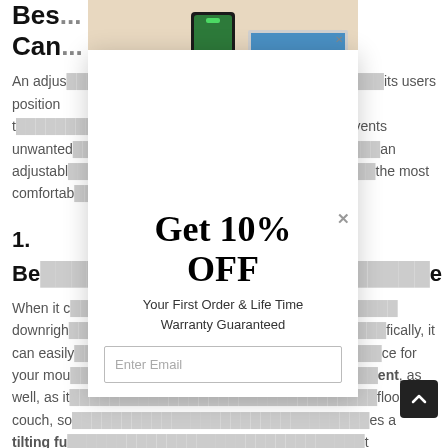Best ... in Canada
An adjustable ... its users position t... prevents unwanted... an adjustable... the most comfortable
1. Be...
When it c... downrigh... fically, it can easily ... ce for your mou... ent, as well, as it... floor, couch, so... es a tilting fu... t... degrees w...
[Figure (photo): Product photo showing a phone desk stand with a smartphone on it and a laptop in the background, on a wooden desk surface]
[Figure (infographic): Modal popup overlay with 'Get 10% OFF' promotion, 'Your First Order & Life Time Warranty Guaranteed', and an email input field]